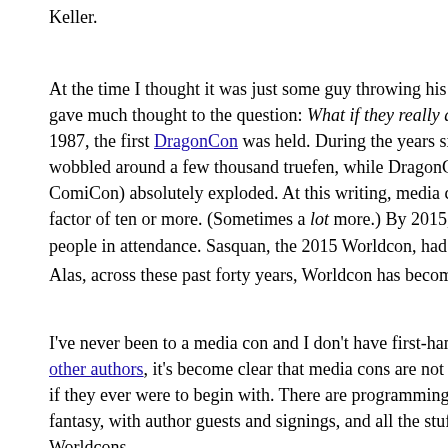Keller.
At the time I thought it was just some guy throwing his weight around, and gave much thought to the question: What if they really do go away? Heh. G 1987, the first DragonCon was held. During the years since then, Worldco wobbled around a few thousand truefen, while DragonCon (and other med ComiCon) absolutely exploded. At this writing, media cons routinely out-pu factor of ten or more. (Sometimes a lot more.) By 2015, ComiCon San Die people in attendance. Sasquan, the 2015 Worldcon, had…3,418. 2% of Co
Alas, across these past forty years, Worldcon has become a rounding erro
I've never been to a media con and I don't have first-hand knowledge, but s other authors, it's become clear that media cons are not entirely superhero if they ever were to begin with. There are programming tracks on purely tex fantasy, with author guests and signings, and all the stuff we used to enjoy Worldcons.
Ok. It took forty years, but media cons have now matured enough and broa enough to give birth to a new award that touches on most aspects of the cr including textual SF and fantasy. The Dragon Awards were presented yeste awards has been posted on the DragonCon site. The award is a popular-vo than a juried award like the Nebulas. It's a fan award, nominated by fans a